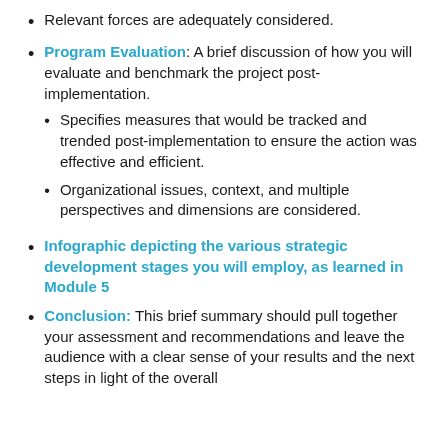Relevant forces are adequately considered.
Program Evaluation: A brief discussion of how you will evaluate and benchmark the project post-implementation.
Specifies measures that would be tracked and trended post-implementation to ensure the action was effective and efficient.
Organizational issues, context, and multiple perspectives and dimensions are considered.
Infographic depicting the various strategic development stages you will employ, as learned in Module 5
Conclusion: This brief summary should pull together your assessment and recommendations and leave the audience with a clear sense of your results and the next steps in light of the overall